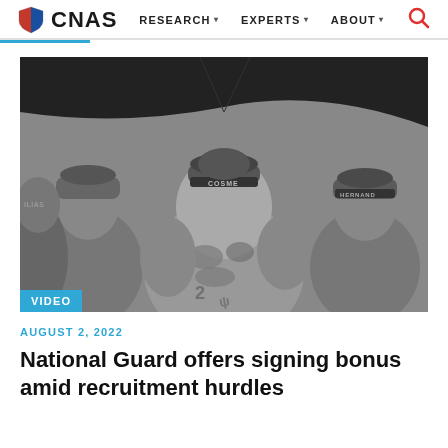CNAS | RESEARCH | EXPERTS | ABOUT
[Figure (photo): Black and white photograph showing the backs of soldiers in camouflage uniforms and caps, one with 'COSME' on the cap band, seated under a tent structure.]
VIDEO
AUGUST 2, 2022
National Guard offers signing bonus amid recruitment hurdles